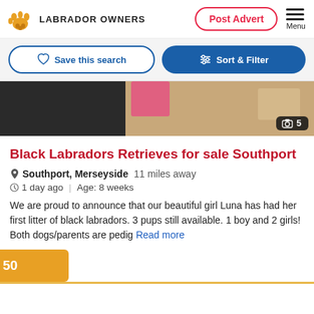LABRADOR OWNERS
Post Advert
Save this search
Sort & Filter
[Figure (photo): Partial image of labradors with pink cloth visible, dark and light toned sections, photo count badge showing 5]
Black Labradors Retrieves for sale Southport
Southport, Merseyside  11 miles away
1 day ago  |  Age: 8 weeks
We are proud to announce that our beautiful girl Luna has had her first litter of black labradors. 3 pups still available. 1 boy and 2 girls! Both dogs/parents are pedig  Read more
50